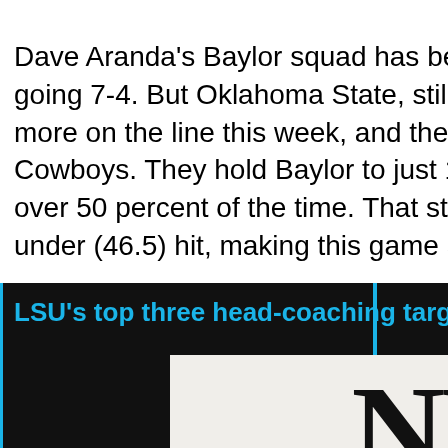Dave Aranda's Baylor squad has been solid against the spread as well, going 7-4. But Oklahoma State, still very much in the playoff picture, has more on the line this week, and the model is projecting a big win for the Cowboys. They hold Baylor to just 18 points as the Cowboys cover well over 50 percent of the time. That strong defensive effort also helps the under (46.5) hit, making this game a great target for college football parlays.
LSU's top three head-coaching targets reportedly revealed
[Figure (photo): Newspaper with large 'NEWS' headline and subtitle 'EWS OF BUSINESS WORLD', with blurred newspaper text columns below]